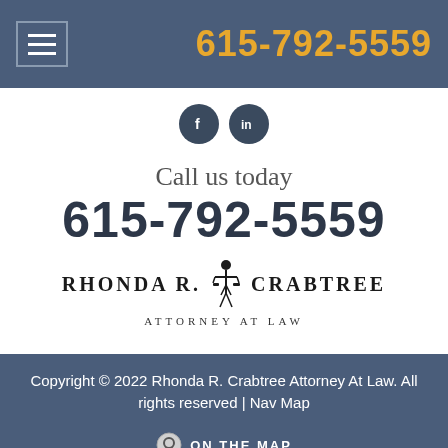615-792-5559
[Figure (logo): Social media icons: Facebook (f) and LinkedIn (in) as dark circular buttons]
Call us today
615-792-5559
[Figure (logo): Rhonda R. Crabtree Attorney At Law logo with Lady Justice figure in the center]
Copyright © 2022 Rhonda R. Crabtree Attorney At Law. All rights reserved | Nav Map
[Figure (logo): ON THE MAP logo with circular map pin icon]
[Figure (infographic): Bottom social sharing bar with Facebook, Twitter, Pinterest, Email, and More (+) buttons in colored blocks]